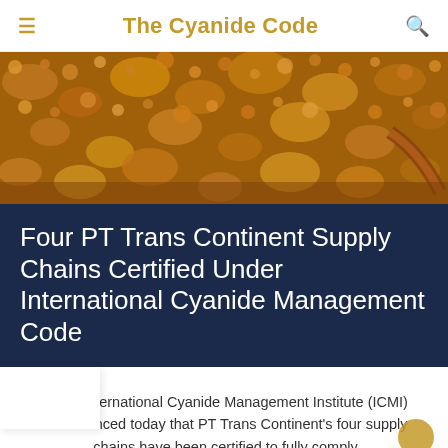The Cyanide Code
[Figure (photo): Close-up photograph of bubbly, textured golden-brown liquid surface, likely related to a chemical or mineral process.]
Four PT Trans Continent Supply Chains Certified Under International Cyanide Management Code
The International Cyanide Management Institute (ICMI) announced today that PT Trans Continent's four supply chains have been certified to fully comply...